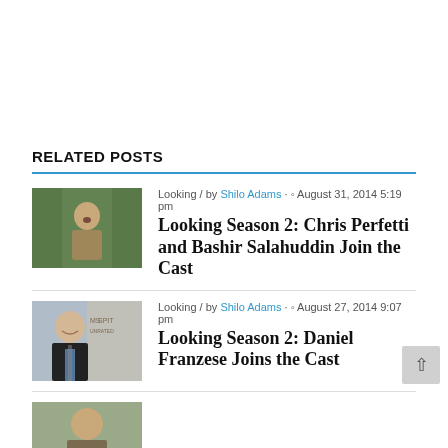RELATED POSTS
[Figure (photo): Actor in outdoor scene, appears stressed or afraid, jungle/forest background]
Looking / by Shilo Adams · August 31, 2014 5:19 pm
Looking Season 2: Chris Perfetti and Bashir Salahuddin Join the Cast
[Figure (photo): Man in suit smiling, event backdrop with text MS SPIT...GR... UNRATED]
Looking / by Shilo Adams · August 27, 2014 9:07 pm
Looking Season 2: Daniel Franzese Joins the Cast
[Figure (photo): Partial thumbnail of third related post, partially visible]